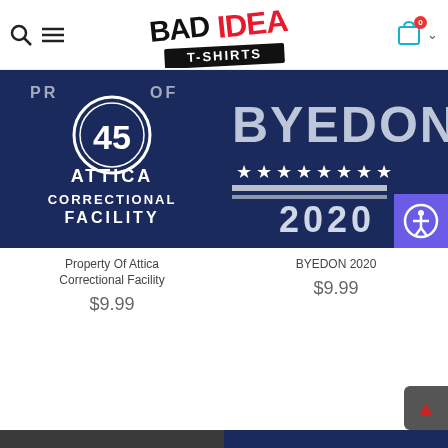[Figure (logo): Bad Idea T-Shirts logo with BAD in black, IDEA in red, T-SHIRTS on black brush stroke banner]
[Figure (photo): Navy blue t-shirt showing number 45 in a circle above text ATTICA CORRECTIONAL FACILITY]
Property Of Attica Correctional Facility
$9.99
[Figure (photo): Navy blue t-shirt with BYEDON text and stars, 2020 below, accessibility icon overlay]
BYEDON 2020
$9.99